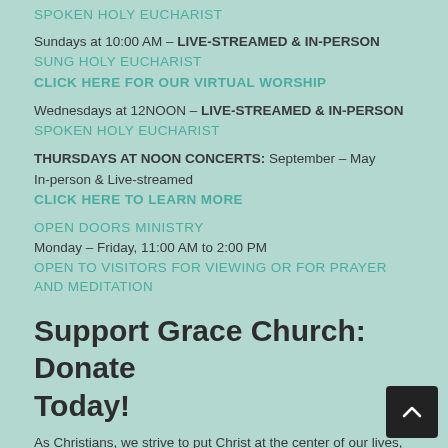SPOKEN HOLY EUCHARIST
Sundays at 10:00 AM – LIVE-STREAMED & IN-PERSON
SUNG HOLY EUCHARIST
CLICK HERE FOR OUR VIRTUAL WORSHIP
Wednesdays at 12NOON – LIVE-STREAMED & IN-PERSON
SPOKEN HOLY EUCHARIST
THURSDAYS AT NOON CONCERTS: September – May
In-person & Live-streamed
CLICK HERE TO LEARN MORE
OPEN DOORS MINISTRY
Monday – Friday, 11:00 AM to 2:00 PM
OPEN TO VISITORS FOR VIEWING OR FOR PRAYER AND MEDITATION
Support Grace Church: Donate Today!
As Christians, we strive to put Christ at the center of our lives, which includes giving sacrificially of our time, our talent and our